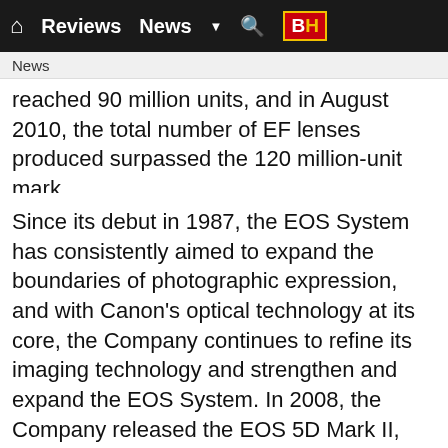Reviews  News  BH
News
reached 90 million units, and in August 2010, the total number of EF lenses produced surpassed the 120 million-unit mark.
Since its debut in 1987, the EOS System has consistently aimed to expand the boundaries of photographic expression, and with Canon's optical technology at its core, the Company continues to refine its imaging technology and strengthen and expand the EOS System. In 2008, the Company released the EOS 5D Mark II, the world's first digital SLR camera equipped with a Full HD video function, facilitating the widespread adoption of digital SLR cameras as a tool for capturing video, and in 2012, that video technology was transformed for the B-to-B sphere in the form of the Cinema EOS System,